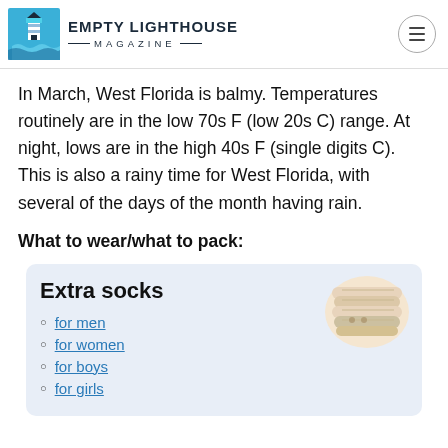EMPTY LIGHTHOUSE MAGAZINE
In March, West Florida is balmy. Temperatures routinely are in the low 70s F (low 20s C) range. At night, lows are in the high 40s F (single digits C). This is also a rainy time for West Florida, with several of the days of the month having rain.
What to wear/what to pack:
[Figure (other): Product recommendation card with light blue background showing 'Extra socks' with links for men, women, boys, and girls, and an image of socks in the top right corner.]
for men
for women
for boys
for girls